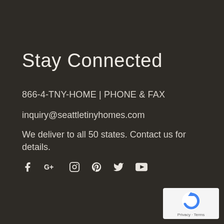Stay Connected
866-4-TNY-HOME | PHONE & FAX
inquiry@seattletinyhomes.com
We deliver to all 50 states. Contact us for details.
[Figure (other): Social media icons: Facebook, Google+, Instagram, Pinterest, Twitter, YouTube]
[Figure (other): reCAPTCHA badge with Privacy · Terms text]